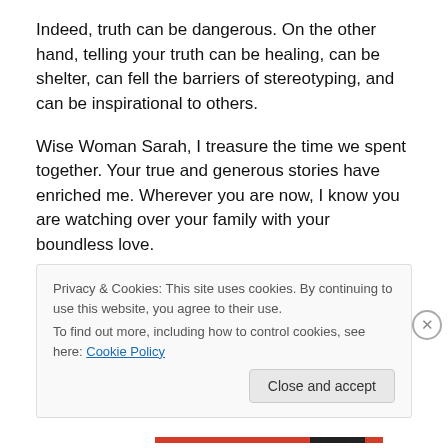Indeed, truth can be dangerous. On the other hand, telling your truth can be healing, can be shelter, can fell the barriers of stereotyping, and can be inspirational to others.
Wise Woman Sarah, I treasure the time we spent together. Your true and generous stories have enriched me. Wherever you are now, I know you are watching over your family with your boundless love.
Privacy & Cookies: This site uses cookies. By continuing to use this website, you agree to their use. To find out more, including how to control cookies, see here: Cookie Policy